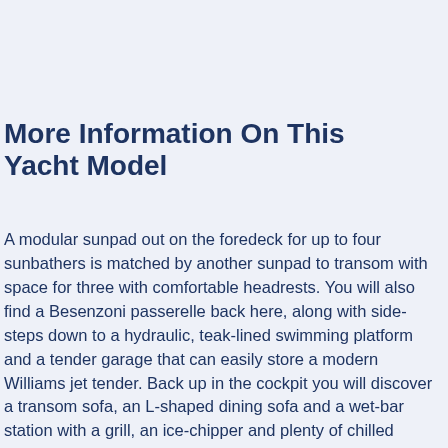More Information On This Yacht Model
A modular sunpad out on the foredeck for up to four sunbathers is matched by another sunpad to transom with space for three with comfortable headrests. You will also find a Besenzoni passerelle back here, along with side-steps down to a hydraulic, teak-lined swimming platform and a tender garage that can easily store a modern Williams jet tender. Back up in the cockpit you will discover a transom sofa, an L-shaped dining sofa and a wet-bar station with a grill, an ice-chipper and plenty of chilled storage, making this a great place to enjoy al-fresco aperitifs with a side of barbecued shrimp.